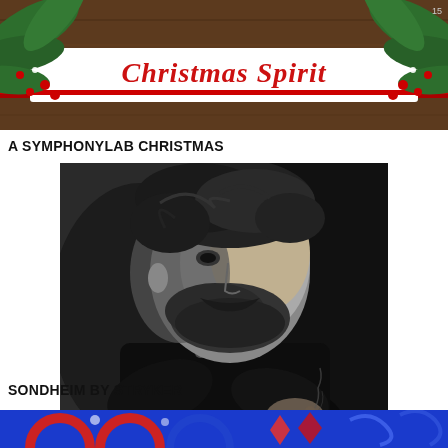[Figure (photo): Christmas Spirit banner with festive script text, pine branches, red berries, and wood background]
A SYMPHONYLAB CHRISTMAS
[Figure (photo): Black and white portrait of a bearded man sitting in profile, looking to the side]
SONDHEIM BY STRYKER
[Figure (photo): Colorful blue and red abstract illustration, partial view at bottom of page]